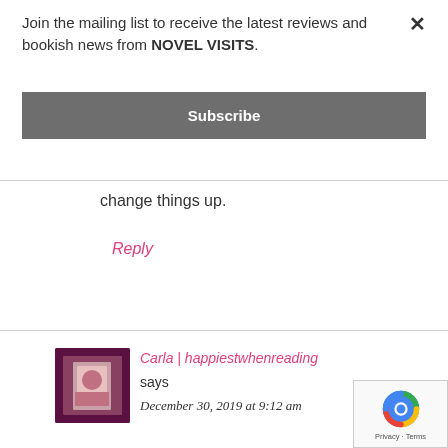Join the mailing list to receive the latest reviews and bookish news from NOVEL VISITS.
Subscribe
change things up.
Reply
Carla | happiestwhenreading
says
December 30, 2019 at 9:12 am